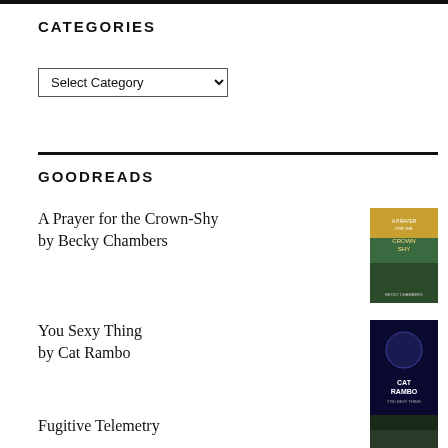CATEGORIES
Select Category
GOODREADS
A Prayer for the Crown-Shy by Becky Chambers
[Figure (photo): Book cover of A Prayer for the Crown-Shy by Becky Chambers]
You Sexy Thing by Cat Rambo
[Figure (photo): Book cover of You Sexy Thing by Cat Rambo]
Fugitive Telemetry
[Figure (photo): Book cover of Fugitive Telemetry]